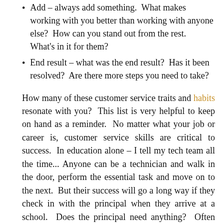Add – always add something.  What makes working with you better than working with anyone else?  How can you stand out from the rest.  What's in it for them?
End result – what was the end result?  Has it been resolved?  Are there more steps you need to take?
How many of these customer service traits and habits resonate with you?  This list is very helpful to keep on hand as a reminder.  No matter what your job or career is, customer service skills are critical to success.  In education alone – I tell my tech team all the time... Anyone can be a technician and walk in the door, perform the essential task and move on to the next.  But their success will go a long way if they check in with the principal when they arrive at a school.  Does the principal need anything?  Often they are far too busy to take a moment to seek out that help.  90% of the time they will say they are all set but they will never forget how you checked in to see.  And the 10% where they may need help – well it becomes the technician being